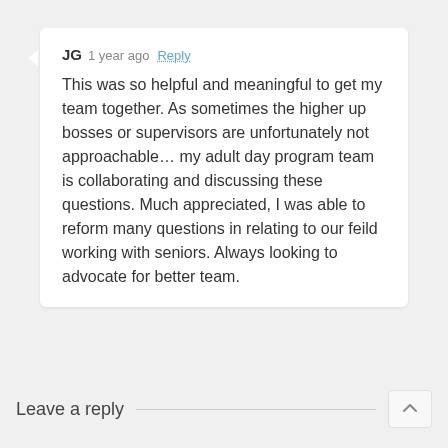JG 1 year ago Reply

This was so helpful and meaningful to get my team together. As sometimes the higher up bosses or supervisors are unfortunately not approachable... my adult day program team is collaborating and discussing these questions. Much appreciated, I was able to reform many questions in relating to our feild working with seniors. Always looking to advocate for better team.
Leave a reply